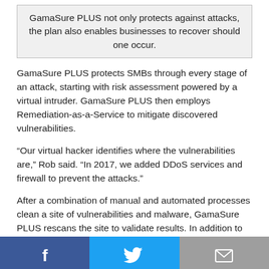GamaSure PLUS not only protects against attacks, the plan also enables businesses to recover should one occur.
GamaSure PLUS protects SMBs through every stage of an attack, starting with risk assessment powered by a virtual intruder. GamaSure PLUS then employs Remediation-as-a-Service to mitigate discovered vulnerabilities.
“Our virtual hacker identifies where the vulnerabilities are,” Rob said. “In 2017, we added DDoS services and firewall to prevent the attacks.”
After a combination of manual and automated processes clean a site of vulnerabilities and malware, GamaSure PLUS rescans the site to validate results. In addition to finding, fixing, and preventing exploits, GamaSure PLUS
[Figure (infographic): Social media sharing bar with three buttons: Facebook (blue), Twitter (light blue), and Email (gray), each with their respective icons.]